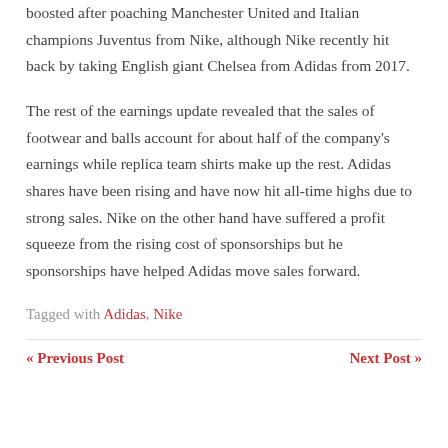boosted after poaching Manchester United and Italian champions Juventus from Nike, although Nike recently hit back by taking English giant Chelsea from Adidas from 2017.
The rest of the earnings update revealed that the sales of footwear and balls account for about half of the company's earnings while replica team shirts make up the rest. Adidas shares have been rising and have now hit all-time highs due to strong sales. Nike on the other hand have suffered a profit squeeze from the rising cost of sponsorships but he sponsorships have helped Adidas move sales forward.
Tagged with Adidas, Nike
« Previous Post   Next Post »